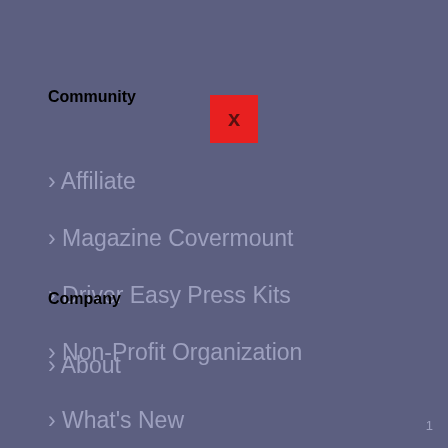Community
[Figure (other): Red close/X button]
› Affiliate
› Magazine Covermount
› Driver Easy Press Kits
› Non-Profit Organization
Company
› About
› What's New
› EULA
› Privacy Policy
1